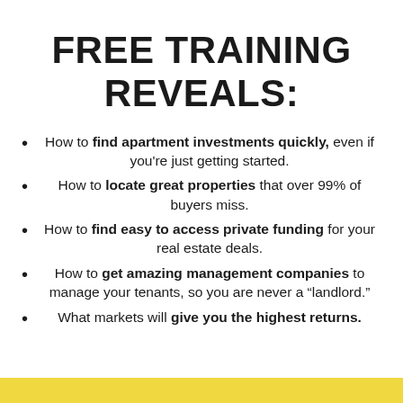FREE TRAINING REVEALS:
How to find apartment investments quickly, even if you're just getting started.
How to locate great properties that over 99% of buyers miss.
How to find easy to access private funding for your real estate deals.
How to get amazing management companies to manage your tenants, so you are never a “landlord.”
What markets will give you the highest returns.